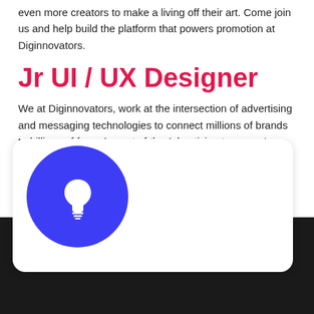even more creators to make a living off their art. Come join us and help build the platform that powers promotion at Diginnovators.
Jr UI / UX Designer
We at Diginnovators, work at the intersection of advertising and messaging technologies to connect millions of brands to billions of fans. As part of the Advertising team, we're paving the way for a sustainable global Spotify business that allows even more creators to make a living off their art. Come join us and help build the platform that powers promotion at Diginnovators.
[Figure (illustration): Blue circle with white lightbulb icon, overlapping a white rounded card on a dark background]